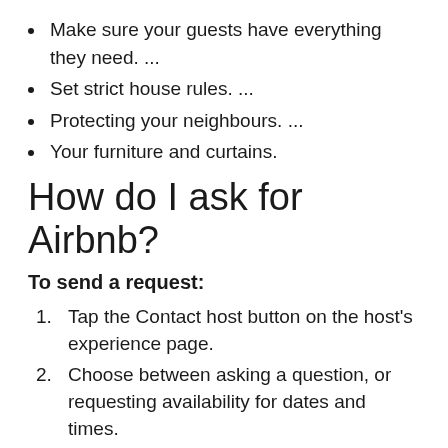Make sure your guests have everything they need. ...
Set strict house rules. ...
Protecting your neighbours. ...
Your furniture and curtains.
How do I ask for Airbnb?
To send a request:
Tap the Contact host button on the host's experience page.
Choose between asking a question, or requesting availability for dates and times.
Select the new date, time, and number of guests.
Decide if you want to change pricing to...